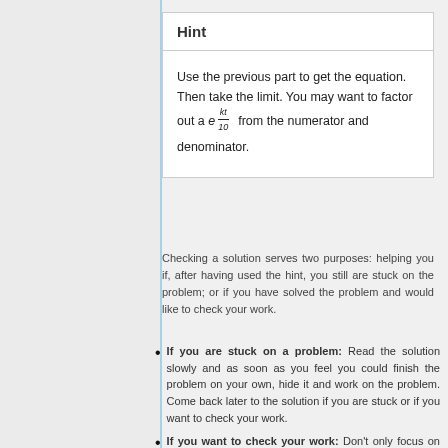Hint
Use the previous part to get the equation. Then take the limit. You may want to factor out a e^(kt/10) from the numerator and denominator.
Checking a solution serves two purposes: helping you if, after having used the hint, you still are stuck on the problem; or if you have solved the problem and would like to check your work.
If you are stuck on a problem: Read the solution slowly and as soon as you feel you could finish the problem on your own, hide it and work on the problem. Come back later to the solution if you are stuck or if you want to check your work.
If you want to check your work: Don't only focus on the answer, problems are mostly marked for the work you do, make sure you